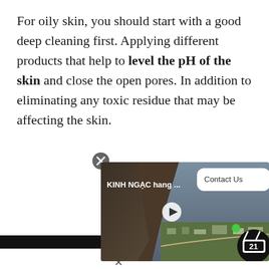For oily skin, you should start with a good deep cleaning first. Applying different products that help to level the pH of the skin and close the open pores. In addition to eliminating any toxic residue that may be affecting the skin.
[Figure (screenshot): A video advertisement overlay showing a scenic aerial video thumbnail with rocky cliffs and a valley town below. The video is labeled 'KINH NGAC hang ...' with a play button. A white rounded rectangle Contact Us button appears top right. A TV21 badge icon is visible bottom right. A close (X) button appears above the overlay. A black bar spans the left portion of the page below the ad.]